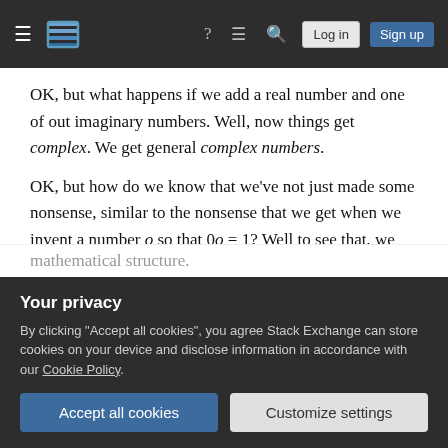Stack Exchange navigation bar with hamburger menu, logo, help, chat, search icons, Log in and Sign up buttons
OK, but what happens if we add a real number and one of out imaginary numbers. Well, now things get complex. We get general complex numbers.
OK, but how do we know that we've not just made some nonsense, similar to the nonsense that we get when we invent a number o so that 0o = 1? Well to see that, we recognize that all complex numbers are of the form x + iy with real numbers x and y, and thus the pair (x, y) completely specifies a complex number. Therefore
Your privacy
By clicking "Accept all cookies", you agree Stack Exchange can store cookies on your device and disclose information in accordance with our Cookie Policy.
mathematical structure.